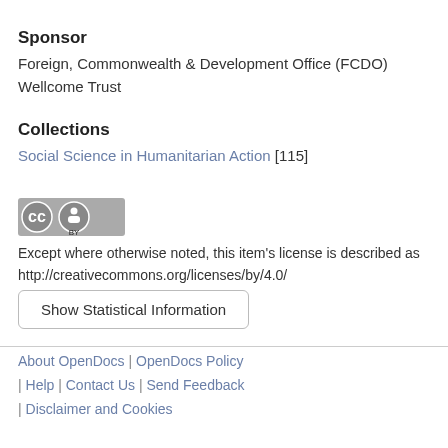Sponsor
Foreign, Commonwealth & Development Office (FCDO)
Wellcome Trust
Collections
Social Science in Humanitarian Action [115]
[Figure (logo): Creative Commons BY license badge — circular CC icon and BY icon on grey background]
Except where otherwise noted, this item's license is described as http://creativecommons.org/licenses/by/4.0/
Show Statistical Information
About OpenDocs | OpenDocs Policy | Help | Contact Us | Send Feedback | Disclaimer and Cookies